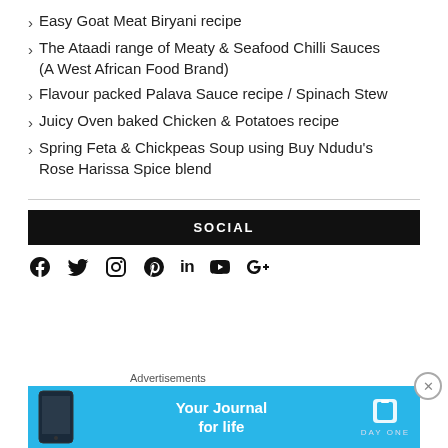Easy Goat Meat Biryani recipe
The Ataadi range of Meaty & Seafood Chilli Sauces (A West African Food Brand)
Flavour packed Palava Sauce recipe / Spinach Stew
Juicy Oven baked Chicken & Potatoes recipe
Spring Feta & Chickpeas Soup using Buy Ndudu’s Rose Harissa Spice blend
SOCIAL
[Figure (infographic): Row of social media icons: Facebook, Twitter, Instagram, Pinterest, LinkedIn, YouTube, Google+]
Advertisements
[Figure (other): Advertisement banner for Day One app: 'Your Journal for life' with phone mockup and Day One logo on cyan/blue background]